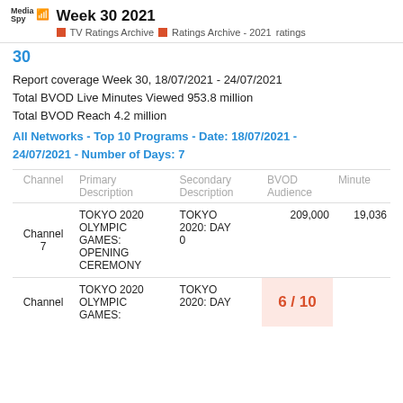Week 30 2021 | TV Ratings Archive | Ratings Archive - 2021 | ratings
30
Report coverage Week 30, 18/07/2021 - 24/07/2021
Total BVOD Live Minutes Viewed 953.8 million
Total BVOD Reach 4.2 million
All Networks - Top 10 Programs - Date: 18/07/2021 - 24/07/2021 - Number of Days: 7
| Channel | Primary Description | Secondary Description | BVOD Audience | Minutes |
| --- | --- | --- | --- | --- |
| Channel 7 | TOKYO 2020 OLYMPIC GAMES: OPENING CEREMONY | TOKYO 2020: DAY 0 | 209,000 | 19,036 |
| Channel | TOKYO 2020 OLYMPIC GAMES: | TOKYO 2020: DAY |  | 6 / 10 |